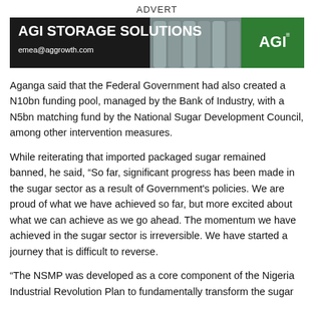ADVERT
[Figure (illustration): AGI Storage Solutions advertisement banner with silos in background, email emea@aggrowth.com and AGI logo on green background]
Aganga said that the Federal Government had also created a N10bn funding pool, managed by the Bank of Industry, with a N5bn matching fund by the National Sugar Development Council, among other intervention measures.
While reiterating that imported packaged sugar remained banned, he said, “So far, significant progress has been made in the sugar sector as a result of Government's policies. We are proud of what we have achieved so far, but more excited about what we can achieve as we go ahead. The momentum we have achieved in the sugar sector is irreversible. We have started a journey that is difficult to reverse.
“The NSMP was developed as a core component of the Nigeria Industrial Revolution Plan to fundamentally transform the sugar